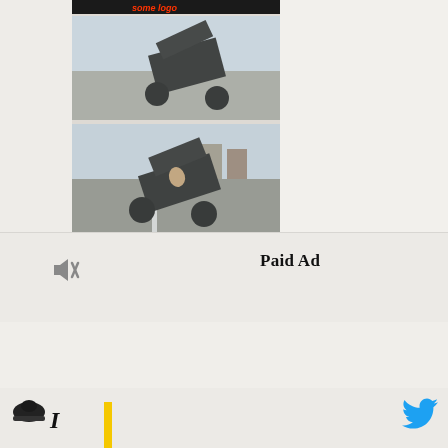[Figure (photo): Top strip with dark/logo bar and two photographs of what appears to be a small motorized vehicle or go-kart on a street, shown from different angles. Images are slightly blurred.]
Paid Ad
[Figure (illustration): Mute/speaker icon (crossed out speaker symbol) in dark gray]
[Figure (logo): Twitter bird icon in blue]
[Figure (illustration): Hard hat / construction icon in dark color]
I
[Figure (illustration): Yellow vertical bar accent element]